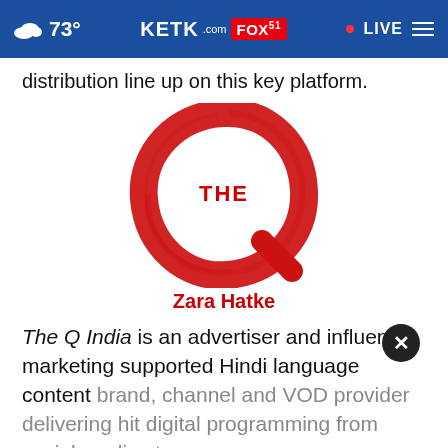73° KETK.com FOX51 • LIVE
distribution line up on this key platform.
[Figure (logo): The Q India logo — a large red brushstroke letter Q with 'THE' written inside the circle, and 'Zara Hatke' written in red below]
The Q India is an advertiser and influencer marketing supported Hindi language content brand, channel and VOD provider delivering hit digital programming from social media stars and broadly distributed content, on the